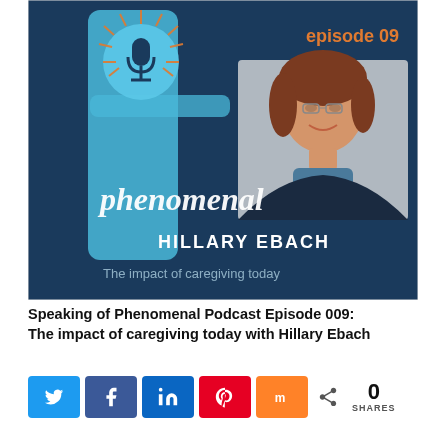[Figure (illustration): Podcast cover art for 'Speaking of Phenomenal' episode 09, featuring guest Hillary Ebach. Dark navy blue background with large light blue letter 'f' graphic and a microphone icon with orange sunburst rays. Photo of Hillary Ebach (woman with glasses and brown hair) in a gray-framed inset. Text reads 'episode 09' in orange, 'phenomenal' in white script, 'HILLARY EBACH' in white uppercase, and partial text 'The impact of caregiving today' at the bottom.]
Speaking of Phenomenal Podcast Episode 009: The impact of caregiving today with Hillary Ebach
[Figure (infographic): Social share buttons row: Twitter (blue), Facebook (blue), LinkedIn (blue), Pinterest (red), Mix (orange), and a share count showing '0 SHARES']